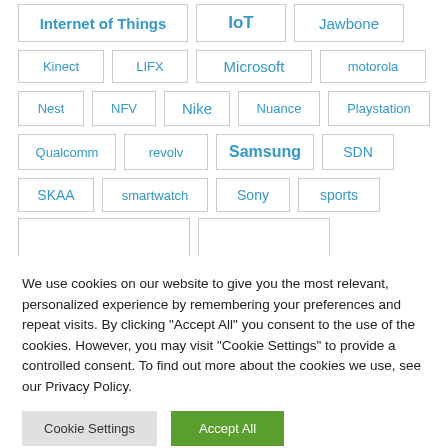Internet of Things, IoT, Jawbone, Kinect, LIFX, Microsoft, motorola, Nest, NFV, Nike, Nuance, Playstation, Qualcomm, revolv, Samsung, SDN, SKAA, smartwatch, Sony, sports
We use cookies on our website to give you the most relevant, personalized experience by remembering your preferences and repeat visits. By clicking "Accept All" you consent to the use of the cookies. However, you may visit "Cookie Settings" to provide a controlled consent. To find out more about the cookies we use, see our Privacy Policy.
Cookie Settings | Accept All